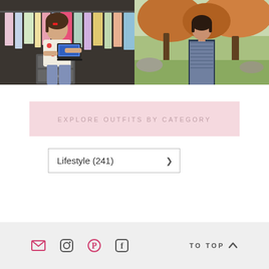[Figure (photo): Young woman standing in a walk-in closet holding a laptop, smiling, colorful clothes hanging behind her]
[Figure (photo): Young woman standing outdoors near trees and rocks, wearing a patterned dress]
EXPLORE OUTFITS BY CATEGORY
Lifestyle (241)
TO TOP ▲